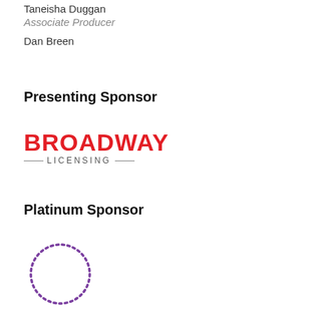Taneisha Duggan
Associate Producer
Dan Breen
Presenting Sponsor
[Figure (logo): Broadway Licensing logo — BROADWAY in bold red letters, with LICENSING below in gray spaced caps flanked by horizontal lines]
Platinum Sponsor
[Figure (logo): Concord Theatricals logo — circular dotted ring in purple above the text CONCORD THEATRICALS in navy blue]
Gold Sponsors